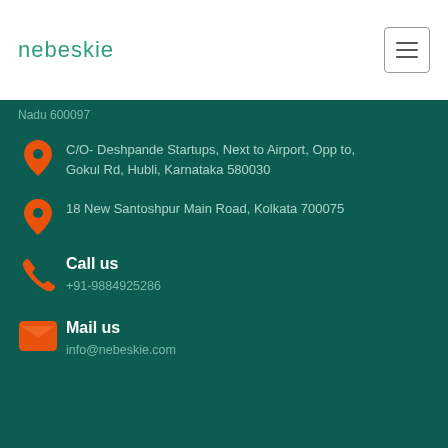nebeskie
Nadu 600097
C/O- Deshpande Startups, Next to Airport, Opp to, Gokul Rd, Hubli, Karnataka 580030
18 New Santoshpur Main Road, Kolkata 700075
Call us
+91-9884925286
Mail us
info@nebeskie.com